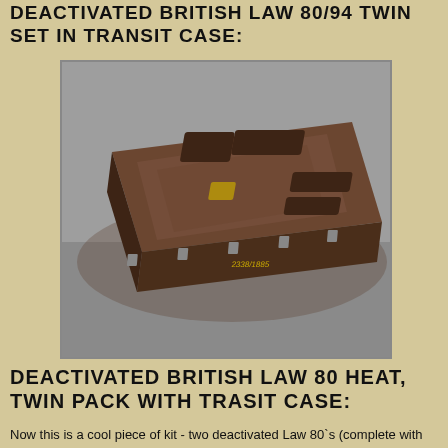DEACTIVATED BRITISH LAW 80/94 TWIN SET IN TRANSIT CASE:
[Figure (photo): A dark brown military transit case for LAW 80 rockets, closed and photographed from above at an angle, showing latches on the side and embossed contours on the lid, resting on a grey ground surface.]
DEACTIVATED BRITISH LAW 80 HEAT, TWIN PACK WITH TRASIT CASE:
Now this is a cool piece of kit - two deactivated Law 80`s (complete with the deactivated spotting pistol in each) and all